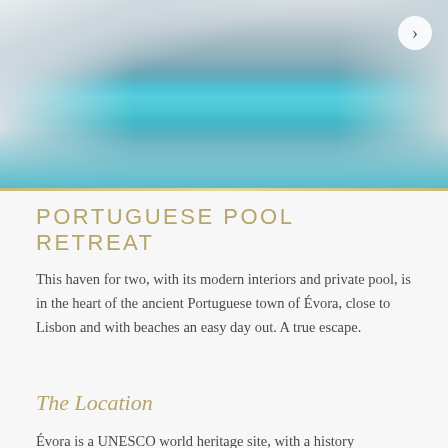[Figure (photo): Photograph of a modern white-walled villa with a rectangular turquoise lap pool with steps leading into it, outdoor lounge chairs and greenery in the background.]
PORTUGUESE POOL RETREAT
This haven for two, with its modern interiors and private pool, is in the heart of the ancient Portuguese town of Évora, close to Lisbon and with beaches an easy day out. A true escape.
The Location
Évora is a UNESCO world heritage site, with a history